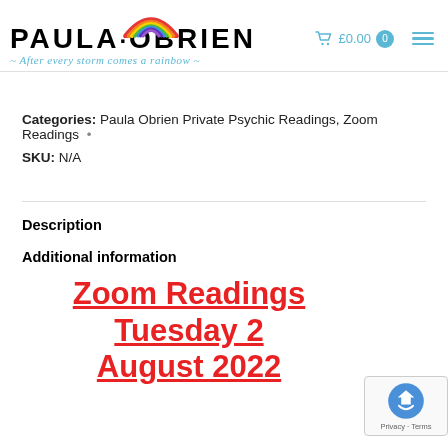PAULA·OBRIEN ~ After every storm comes a rainbow ~
Categories: Paula Obrien Private Psychic Readings, Zoom Readings •
SKU: N/A
Description
Additional information
Zoom Readings Tuesday 2 August 2022